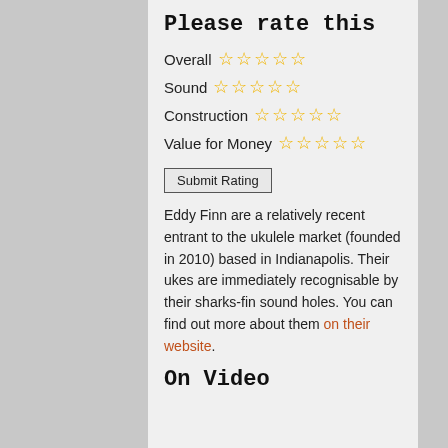Please rate this
Overall ☆ ☆ ☆ ☆ ☆
Sound ☆ ☆ ☆ ☆ ☆
Construction ☆ ☆ ☆ ☆ ☆
Value for Money ☆ ☆ ☆ ☆ ☆
Submit Rating
Eddy Finn are a relatively recent entrant to the ukulele market (founded in 2010) based in Indianapolis. Their ukes are immediately recognisable by their sharks-fin sound holes. You can find out more about them on their website.
On Video